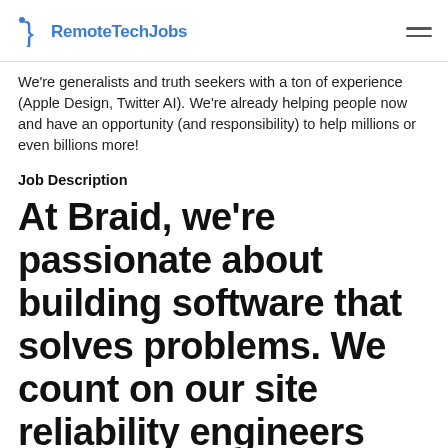RemoteTechJobs
We're generalists and truth seekers with a ton of experience (Apple Design, Twitter AI). We're already helping people now and have an opportunity (and responsibility) to help millions or even billions more!
Job Description
At Braid, we're passionate about building software that solves problems. We count on our site reliability engineers (SREs) to empower our users with a rich feature set, high availability, and stellar